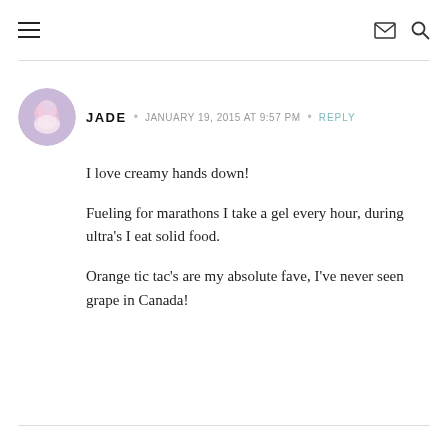Navigation and search icons
[Figure (illustration): Circular avatar photo of user Jade, showing a person with soft purple/pink tones]
JADE • JANUARY 19, 2015 AT 9:57 PM • REPLY
I love creamy hands down!

Fueling for marathons I take a gel every hour, during ultra's I eat solid food.

Orange tic tac's are my absolute fave, I've never seen grape in Canada!